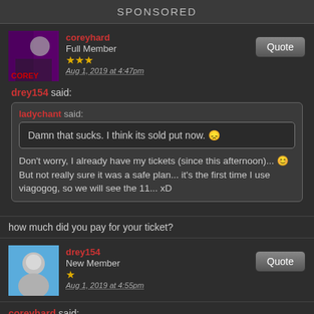SPONSORED
coreyhard
Full Member
★★★
Aug 1, 2019 at 4:47pm
drey154 said:
ladychant said:
Damn that sucks. I think its sold put now. 😣
Don't worry, I already have my tickets (since this afternoon)... 😊 But not really sure it was a safe plan... it's the first time I use viagogog, so we will see the 11... xD
how much did you pay for your ticket?
drey154
New Member
★
Aug 1, 2019 at 4:55pm
coreyhard said: